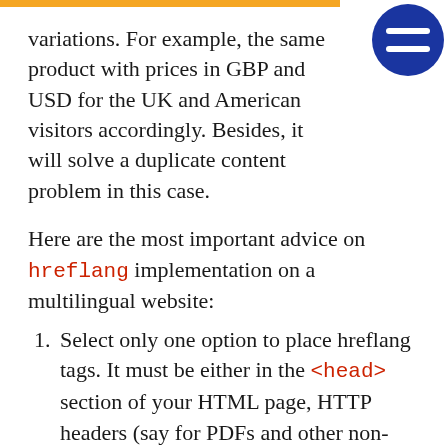variations. For example, the same product with prices in GBP and USD for the UK and American visitors accordingly. Besides, it will solve a duplicate content problem in this case.
Here are the most important advice on hreflang implementation on a multilingual website:
Select only one option to place hreflang tags. It must be either in the <head> section of your HTML page, HTTP headers (say for PDFs and other non-HTML content) or in your sitemap.
Every language/location variation of your page must have the exact same set of hreflang annotations. Thus, you will provide the confirmation links between these pages.
Always include hreflang="x-default"